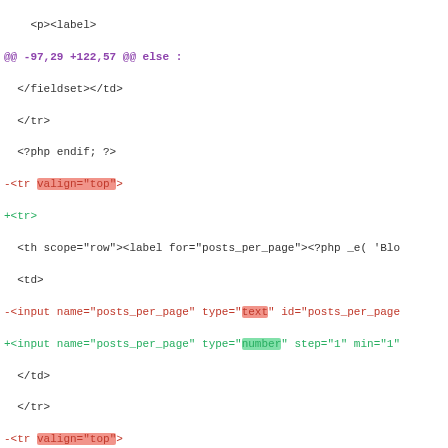[Figure (screenshot): A code diff view showing PHP/HTML changes. Lines with '-' prefix are shown in red (removed), lines with '+' prefix in green (added), neutral lines in dark/black. Highlighted spans show changed tokens: 'text' in red background for removed lines, 'number' in green background for added lines, and 'valign="top"' in pink/red background for removed tr attributes.]